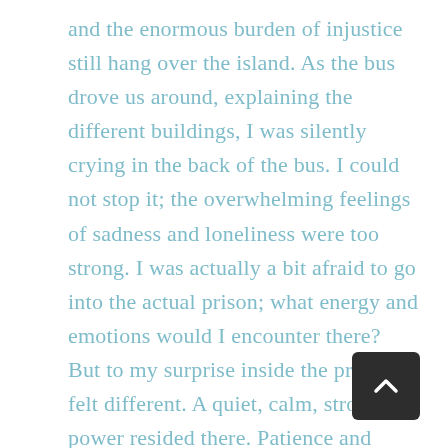and the enormous burden of injustice still hang over the island. As the bus drove us around, explaining the different buildings, I was silently crying in the back of the bus. I could not stop it; the overwhelming feelings of sadness and loneliness were too strong. I was actually a bit afraid to go into the actual prison; what energy and emotions would I encounter there? But to my surprise inside the prison it felt different. A quiet, calm, strong power resided there. Patience and perseverance were stronger than the loneliness. Our guide also emphasized that positive side: a lot had been achieved, ex-prisoners and ex-guards were now living next to each other, they had forgiven each other. He explained daily life in prison and took us to various rooms. In one space the size of a